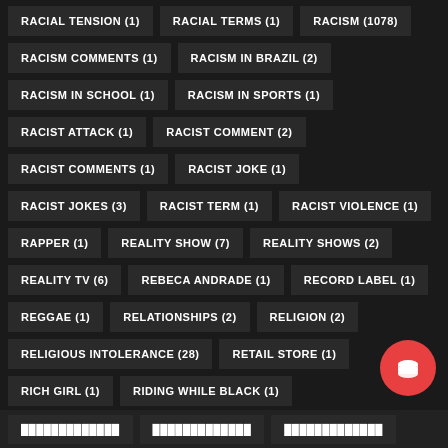RACIAL TENSION (1)
RACIAL TERMS (1)
RACISM (1078)
RACISM COMMENTS (1)
RACISM IN BRAZIL (2)
RACISM IN SCHOOL (1)
RACISM IN SPORTS (1)
RACIST ATTACK (1)
RACIST COMMENT (2)
RACIST COMMENTS (1)
RACIST JOKE (1)
RACIST JOKES (3)
RACIST TERM (1)
RACIST VIOLENCE (1)
RAPPER (1)
REALITY SHOW (7)
REALITY SHOWS (2)
REALITY TV (6)
REBECA ANDRADE (1)
RECORD LABEL (1)
REGGAE (1)
RELATIONSHIPS (2)
RELIGION (2)
RELIGIOUS INTOLERANCE (28)
RETAIL STORE (1)
RICH GIRL (1)
RIDING WHILE BLACK (1)
PLEASE SUPPORT THE CAUSE WITH A SMALL DONATION
RIO DE JANEIRO (11)
ROLLING STONE (1)
ROYALTIES